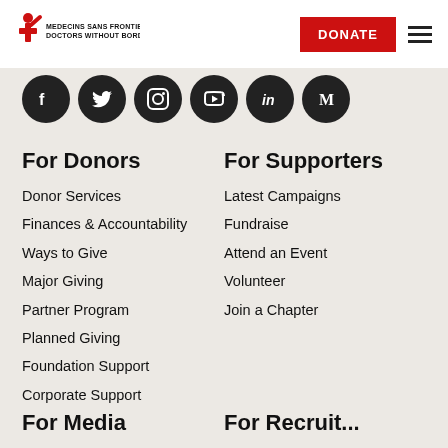[Figure (logo): MSF / Médecins Sans Frontières – Doctors Without Borders logo with red figure and text]
DONATE
[Figure (other): Social media icons row: Facebook, Twitter, Instagram, YouTube, LinkedIn, Medium]
For Donors
Donor Services
Finances & Accountability
Ways to Give
Major Giving
Partner Program
Planned Giving
Foundation Support
Corporate Support
For Supporters
Latest Campaigns
Fundraise
Attend an Event
Volunteer
Join a Chapter
For Media
For Recruit...